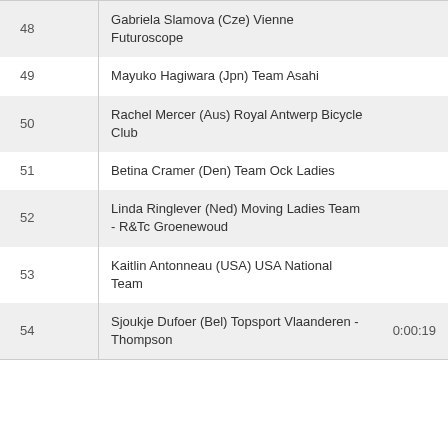| # | Rider | Time |
| --- | --- | --- |
| 48 | Gabriela Slamova (Cze) Vienne Futuroscope |  |
| 49 | Mayuko Hagiwara (Jpn) Team Asahi |  |
| 50 | Rachel Mercer (Aus) Royal Antwerp Bicycle Club |  |
| 51 | Betina Cramer (Den) Team Ock Ladies |  |
| 52 | Linda Ringlever (Ned) Moving Ladies Team - R&Tc Groenewoud |  |
| 53 | Kaitlin Antonneau (USA) USA National Team |  |
| 54 | Sjoukje Dufoer (Bel) Topsport Vlaanderen - Thompson | 0:00:19 |